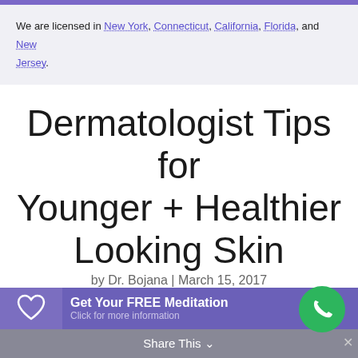We are licensed in New York, Connecticut, California, Florida, and New Jersey.
Dermatologist Tips for Younger + Healthier Looking Skin
by Dr. Bojana | March 15, 2017
Get Your FREE Meditation
Click for more information
Share This